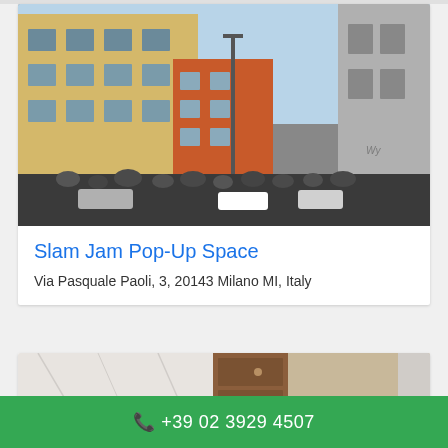[Figure (photo): Street scene in Milan, Italy showing multi-story buildings with balconies in yellow and orange tones, a crowd of people on the street, and a tall light pole in the center. Clear sky visible.]
Slam Jam Pop-Up Space
Via Pasquale Paoli, 3, 20143 Milano MI, Italy
[Figure (photo): Partial view of a building entrance or doorway with marble/stone surfaces and a wooden door visible.]
📞 +39 02 3929 4507